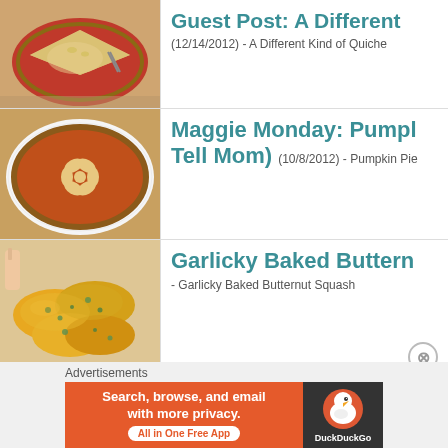[Figure (photo): A slice of quiche on a red plate with a fork]
Guest Post: A Different...
(12/14/2012) - A Different Kind of Quiche
[Figure (photo): A pumpkin pie with decorative leaf cutouts on top in a white dish]
Maggie Monday: Pumph Tell Mom)
(10/8/2012) - Pumpkin Pie
[Figure (photo): Garlicky baked butternut squash pieces on a plate]
Garlicky Baked Buttern
- Garlicky Baked Butternut Squash
Advertisements
[Figure (screenshot): DuckDuckGo advertisement banner: Search, browse, and email with more privacy. All in One Free App.]